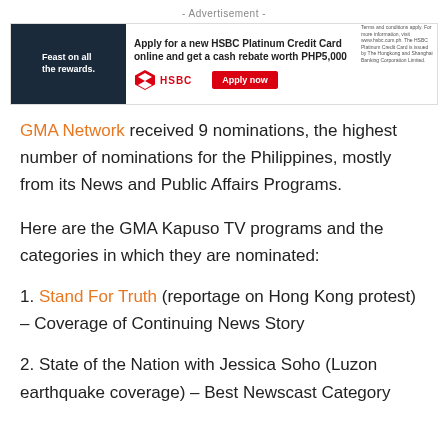[Figure (other): HSBC Platinum Credit Card advertisement banner with image of people dining, HSBC logo, apply now button, and fine print text]
GMA Network received 9 nominations, the highest number of nominations for the Philippines, mostly from its News and Public Affairs Programs.
Here are the GMA Kapuso TV programs and the categories in which they are nominated:
1. Stand For Truth (reportage on Hong Kong protest) – Coverage of Continuing News Story
2. State of the Nation with Jessica Soho (Luzon earthquake coverage) – Best Newscast Category